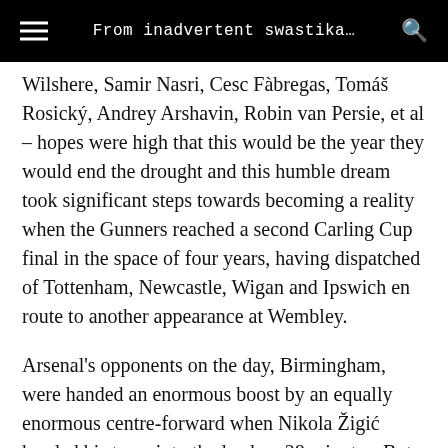From inadvertent swastika…
Wilshere, Samir Nasri, Cesc Fàbregas, Tomáš Rosický, Andrey Arshavin, Robin van Persie, et al – hopes were high that this would be the year they would end the drought and this humble dream took significant steps towards becoming a reality when the Gunners reached a second Carling Cup final in the space of four years, having dispatched of Tottenham, Newcastle, Wigan and Ipswich en route to another appearance at Wembley.
Arsenal's opponents on the day, Birmingham, were handed an enormous boost by an equally enormous centre-forward when Nikola Žigić headed his team into the lead on 28 minutes. But the favourites fought back